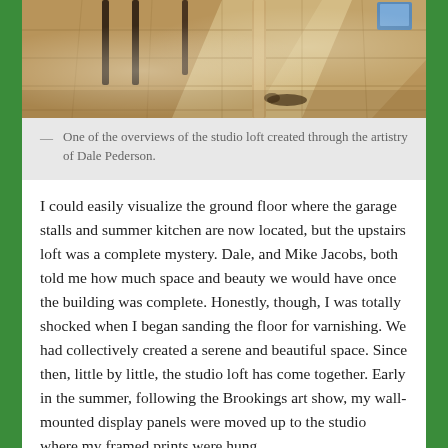[Figure (photo): Interior photo of a studio loft showing wooden plank floors with sunlight streaming in, dark furniture/table legs visible, and a warm rustic atmosphere.]
— One of the overviews of the studio loft created through the artistry of Dale Pederson.
I could easily visualize the ground floor where the garage stalls and summer kitchen are now located, but the upstairs loft was a complete mystery. Dale, and Mike Jacobs, both told me how much space and beauty we would have once the building was complete. Honestly, though, I was totally shocked when I began sanding the floor for varnishing. We had collectively created a serene and beautiful space. Since then, little by little, the studio loft has come together. Early in the summer, following the Brookings art show, my wall-mounted display panels were moved up to the studio where my framed prints were hung.
My newer wire panels were then moved up where the